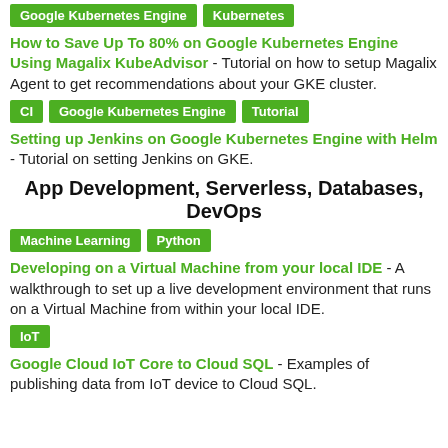Google Kubernetes Engine | Kubernetes
How to Save Up To 80% on Google Kubernetes Engine Using Magalix KubeAdvisor - Tutorial on how to setup Magalix Agent to get recommendations about your GKE cluster.
CI | Google Kubernetes Engine | Tutorial
Setting up Jenkins on Google Kubernetes Engine with Helm - Tutorial on setting Jenkins on GKE.
App Development, Serverless, Databases, DevOps
Machine Learning | Python
Developing on a Virtual Machine from your local IDE - A walkthrough to set up a live development environment that runs on a Virtual Machine from within your local IDE.
IoT
Google Cloud IoT Core to Cloud SQL - Examples of publishing data from IoT device to Cloud SQL.